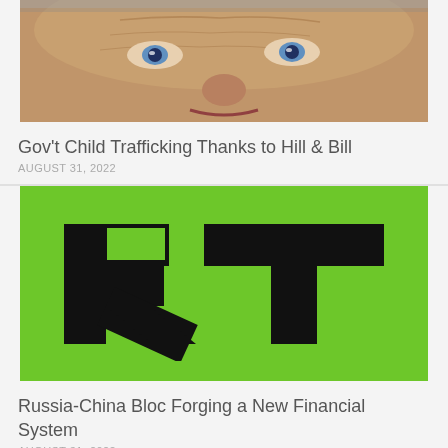[Figure (photo): Close-up photo of an elderly person's face, cropped to show forehead, eyes, nose and mouth area.]
Gov't Child Trafficking Thanks to Hill & Bill
AUGUST 31, 2022
[Figure (logo): RT (Russia Today) logo — large bold black letters 'RT' on a bright green background.]
Russia-China Bloc Forging a New Financial System
AUGUST 31, 2022